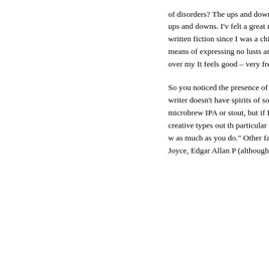of disorders? The ups and downs of submitting, rejecting, and acceptance normal pattern of ups and downs. I'v felt a great need to express myself, started out in acting and later crew w written fiction since I was a child but take it seriously until a few years ago writing as a means of expressing no lusts and dreams but my frustrations Like Hemingway, I bleed all over my It feels good – very freeing – and I le scars. Well, not physical ones at an
So you noticed the presence of alco lives of many of those people I ment Yup, what kind of writer doesn't have spirits of some sort by her side? I lik vermouth, champagne, and occasio microbrew IPA or stout, but if I drink my writing is worth a barrel of spit. T lots of alcoholic creative types out th particular Dylan Thomas, who once alcoholic is someone you don't like w as much as you do." Other famous a writers include William Faulkner, Do Parker, James Joyce, Edgar Allan P (although his alleged alcoholism has